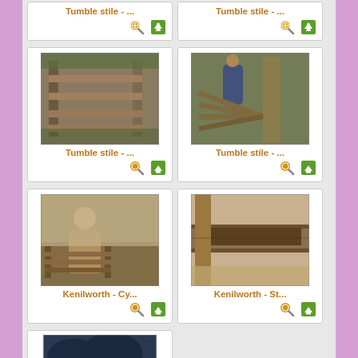[Figure (photo): Partial top card showing title 'Tumble stile - ...' with search and download icons]
[Figure (photo): Partial top card showing title 'Tumble stile - ...' with search and download icons]
[Figure (photo): Photo of wooden tumble stile fence with horizontal rails and posts, labeled 'Tumble stile - ...']
[Figure (photo): Photo of person in blue top working on wooden tumble stile with thick post, labeled 'Tumble stile - ...']
[Figure (photo): Indoor photo of person with wooden fence/stile model at Kenilworth, labeled 'Kenilworth - Cy...']
[Figure (photo): Close-up photo of wooden beam with groove/slot channel at Kenilworth, labeled 'Kenilworth - St...']
[Figure (photo): Partial bottom card showing dark treetop photo, clipped at page bottom]